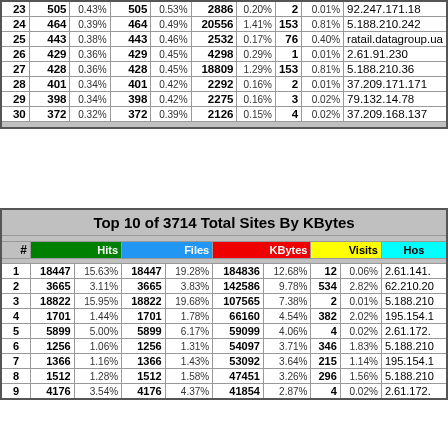| # | Hits |  | Files |  | KBytes |  | Visits |  | Hostname |
| --- | --- | --- | --- | --- | --- | --- | --- | --- | --- |
| 23 | 505 | 0.43% | 505 | 0.53% | 2886 | 0.20% | 2 | 0.01% | 92.247.171.18 |
| 24 | 464 | 0.39% | 464 | 0.49% | 20556 | 1.41% | 153 | 0.81% | 5.188.210.242 |
| 25 | 443 | 0.38% | 443 | 0.46% | 2532 | 0.17% | 76 | 0.40% | ratail.datagroup.ua |
| 26 | 429 | 0.36% | 429 | 0.45% | 4298 | 0.29% | 1 | 0.01% | 2.61.91.230 |
| 27 | 428 | 0.36% | 428 | 0.45% | 18809 | 1.29% | 153 | 0.81% | 5.188.210.36 |
| 28 | 401 | 0.34% | 401 | 0.42% | 2292 | 0.16% | 2 | 0.01% | 37.209.171.171 |
| 29 | 398 | 0.34% | 398 | 0.42% | 2275 | 0.16% | 3 | 0.02% | 79.132.14.78 |
| 30 | 372 | 0.32% | 372 | 0.39% | 2126 | 0.15% | 4 | 0.02% | 37.209.168.137 |
Top 10 of 3714 Total Sites By KBytes
| # | Hits |  | Files |  | KBytes |  | Visits |  | Hostname |
| --- | --- | --- | --- | --- | --- | --- | --- | --- | --- |
| 1 | 18447 | 15.63% | 18447 | 19.28% | 184836 | 12.68% | 12 | 0.06% | 2.61.141. |
| 2 | 3665 | 3.11% | 3665 | 3.83% | 142586 | 9.78% | 534 | 2.82% | 62.210.20 |
| 3 | 18822 | 15.95% | 18822 | 19.68% | 107565 | 7.38% | 2 | 0.01% | 5.188.210 |
| 4 | 1701 | 1.44% | 1701 | 1.78% | 66160 | 4.54% | 382 | 2.02% | 195.154.1 |
| 5 | 5899 | 5.00% | 5899 | 6.17% | 59099 | 4.06% | 4 | 0.02% | 2.61.172. |
| 6 | 1256 | 1.06% | 1256 | 1.31% | 54097 | 3.71% | 346 | 1.83% | 5.188.210 |
| 7 | 1366 | 1.16% | 1366 | 1.43% | 53092 | 3.64% | 215 | 1.14% | 195.154.1 |
| 8 | 1512 | 1.28% | 1512 | 1.58% | 47451 | 3.26% | 296 | 1.56% | 5.188.210 |
| 9 | 4176 | 3.54% | 4176 | 4.37% | 41854 | 2.87% | 4 | 0.02% | 2.61.172. |